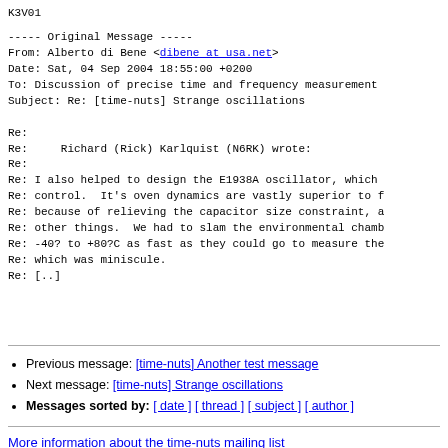K3V01
----- Original Message -----
From: Alberto di Bene <dibene at usa.net>
Date: Sat, 04 Sep 2004 18:55:00 +0200
To: Discussion of precise time and frequency measurement
Subject: Re: [time-nuts] Strange oscillations

Re:
Re:     Richard (Rick) Karlquist (N6RK) wrote:
Re:
Re: I also helped to design the E1938A oscillator, which
Re: control.  It's oven dynamics are vastly superior to f
Re: because of relieving the capacitor size constraint, a
Re: other things.  We had to slam the environmental chamb
Re: -40? to +80?C as fast as they could go to measure the
Re: which was miniscule.
Re: [..]
Previous message: [time-nuts] Another test message
Next message: [time-nuts] Strange oscillations
Messages sorted by: [ date ] [ thread ] [ subject ] [ author ]
More information about the time-nuts mailing list